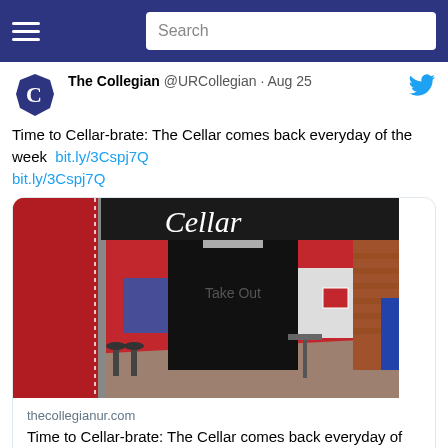Search
The Collegian @URCollegian · Aug 25
Time to Cellar-brate: The Cellar comes back everyday of the week  bit.ly/3Cspj7Q bit.ly/3Cspj7Q
[Figure (photo): Interior photo of The Cellar restaurant/dining venue showing red walls, brick, a dark doorway with 'Cellar' signage above, indoor seating area and take-out counter.]
thecollegianur.com
Time to Cellar-brate: The Cellar comes back everyday of the week
4 likes